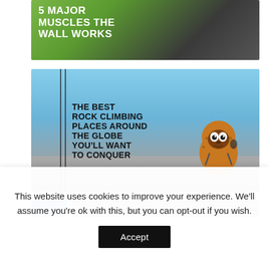[Figure (photo): Article thumbnail image with yellow-green and dark background showing text overlay '5 MAJOR MUSCLES THE WALL WORKS' in white bold uppercase text]
5 MAJOR MUSCLES THE WALL WORKS
[Figure (photo): Article thumbnail image with blue sky background showing a fuzzy orange cartoon character (rock climbing mascot) peeking over a rock ledge, with text overlay 'THE BEST ROCK CLIMBING PLACES AROUND THE GLOBE YOU'LL WANT TO CONQUER' in black bold uppercase text, and decorative vertical lines on the left]
THE BEST ROCK CLIMBING PLACES AROUND THE GLOBE YOU'LL WANT TO CONQUER
[Figure (photo): Partially visible row of two article thumbnail images at bottom of page]
This website uses cookies to improve your experience. We'll assume you're ok with this, but you can opt-out if you wish.